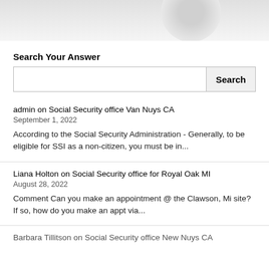[Figure (photo): Partial top image, grayscale, showing a rounded object against a light gray background]
Search Your Answer
Search input box with Search button
admin on Social Security office Van Nuys CA
September 1, 2022
According to the Social Security Administration - Generally, to be eligible for SSI as a non-citizen, you must be in...
Liana Holton on Social Security office for Royal Oak MI
August 28, 2022
Comment Can you make an appointment @ the Clawson, Mi site? If so, how do you make an appt via...